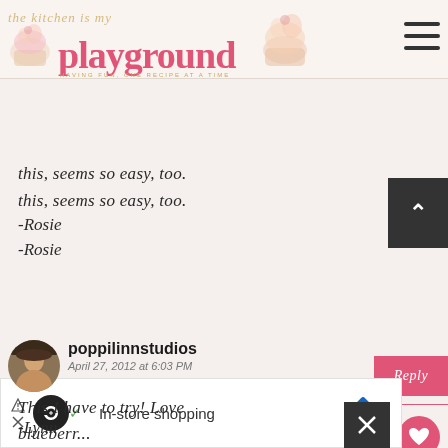The Kitchen is my Playground
this, seems so easy, too.
-Rosie
poppilinnstudios
April 27, 2012 at 6:03 PM
This I have to try! Love blueberr...
-Lynn
WHAT'S NEXT → Blueberry Gingerbread
In-store shopping